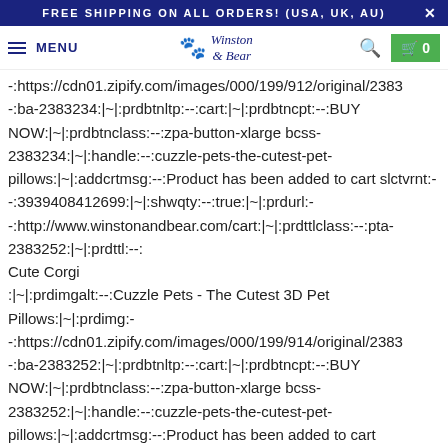FREE SHIPPING ON ALL ORDERS! (USA, UK, AU)
MENU | Winston & Bear | Search | Cart 0
-:https://cdn01.zipify.com/images/000/199/912/original/2383...
-:ba-2383234:|~|:prdbtnltp:--:cart:|~|:prdbtncpt:--:BUY NOW:|~|:prdbtnclass:--:zpa-button-xlarge bcss-2383234:|~|:handle:--:cuzzle-pets-the-cutest-pet-pillows:|~|:addcrtmsg:--:Product has been added to cart slctvrnt:--:3939408412699:|~|:shwqty:--:true:|~|:prdurl:--:http://www.winstonandbear.com/cart:|~|:prdttlclass:--:pta-2383252:|~|:prdttl:--:
Cute Corgi
:|~|:prdimgalt:--:Cuzzle Pets - The Cutest 3D Pet Pillows:|~|:prdimg:--:https://cdn01.zipify.com/images/000/199/914/original/2383...
-:ba-2383252:|~|:prdbtnltp:--:cart:|~|:prdbtncpt:--:BUY NOW:|~|:prdbtnclass:--:zpa-button-xlarge bcss-2383252:|~|:handle:--:cuzzle-pets-the-cutest-pet-pillows:|~|:addcrtmsg:--:Product has been added to cart